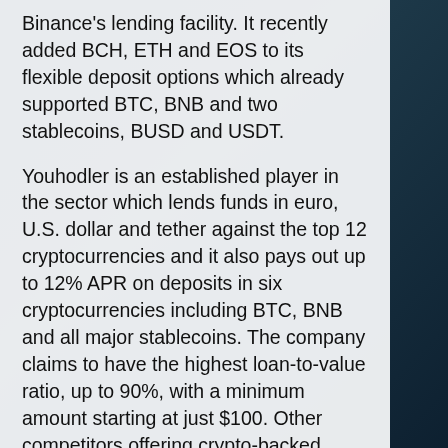Binance's lending facility. It recently added BCH, ETH and EOS to its flexible deposit options which already supported BTC, BNB and two stablecoins, BUSD and USDT.
Youhodler is an established player in the sector which lends funds in euro, U.S. dollar and tether against the top 12 cryptocurrencies and it also pays out up to 12% APR on deposits in six cryptocurrencies including BTC, BNB and all major stablecoins. The company claims to have the highest loan-to-value ratio, up to 90%, with a minimum amount starting at just $100. Other competitors offering crypto-backed loans include Unchained Capital (accepts BTC with 35-50% LTV), Hodl Finance (uses BTC, ETH and XRP as collateral at 50% LTV) and Coin Loan (takes six cryptocurrencies with loan to value ratio of up to 70%). Lendabit facilitates peer-to-peer lending and borrowing against crypto collateral in BTC and ETH.